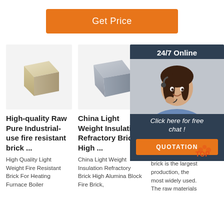Get Price
[Figure (photo): High-quality fire resistant brick product image]
[Figure (photo): China Light Weight Insulation Refractory Brick product image]
[Figure (photo): Refractory bricks product image]
High-quality Raw Pure Industrial-use fire resistant brick ...
China Light Weight Insulation Refractory Brick High ...
refrac... bricks
High Quality Light Weight Fire Resistant Brick For Heating Furnace Boiler
China Light Weight Insulation Refractory Brick High Alumina Block Fire Brick,
2017-2... 20u20... bricks import. Refractory clay brick is the largest production, the most widely used. The raw materials
[Figure (infographic): 24/7 Online chat overlay with agent photo, Click here for free chat!, QUOTATION button]